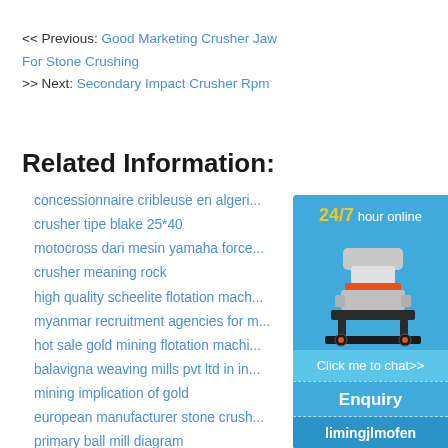<< Previous: Good Marketing Crusher Jaw For Stone Crushing
>> Next: Secondary Impact Crusher Rpm
Related Information:
concessionnaire cribleuse en algeri...
crusher tipe blake 25*40
motocross dari mesin yamaha force...
crusher meaning rock
high quality scheelite flotation mach...
myanmar recruitment agencies for m...
hot sale gold mining flotation machi...
balavigna weaving mills pvt ltd in in...
mining implication of gold
european manufacturer stone crush...
primary ball mill diagram
[Figure (photo): Industrial cone crusher machine with orange and black accents, displayed on a blue background. Sidebar with 24/7 hour online label, Click me to chat>> button, Enquiry section, and limingjlmofen branding.]